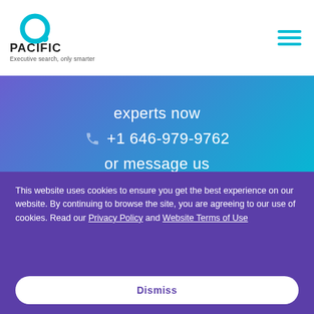[Figure (logo): Pacific Executive search company logo with circular icon and tagline 'Executive search, only smarter']
experts now
+1 646-979-9762
or message us
This website uses cookies to ensure you get the best experience on our website. By continuing to browse the site, you are agreeing to our use of cookies. Read our Privacy Policy and Website Terms of Use
Dismiss